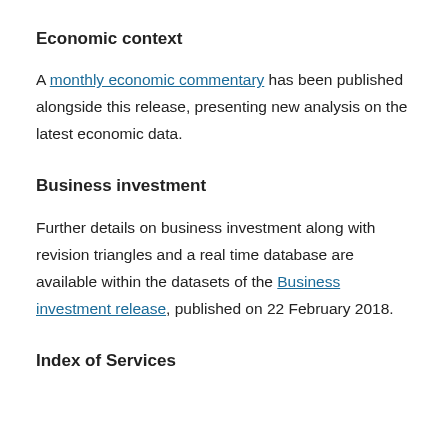Economic context
A monthly economic commentary has been published alongside this release, presenting new analysis on the latest economic data.
Business investment
Further details on business investment along with revision triangles and a real time database are available within the datasets of the Business investment release, published on 22 February 2018.
Index of Services